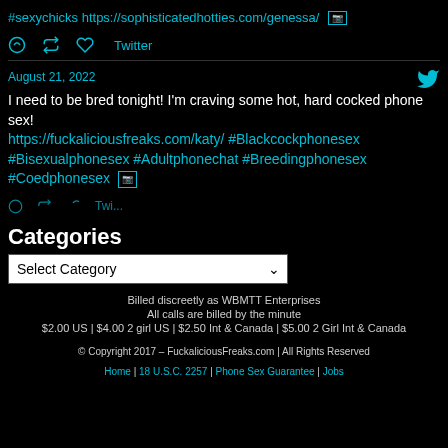#sexychicks https://sophisticatedhotties.com/genessa/ [image icon]
Icons: reply, retweet, like | Twitter
August 21, 2022
I need to be bred tonight! I'm craving some hot, hard cocked phone sex! https://fuckaliciousfreaks.com/katy/ #Blackcockphonesex #Bisexualphonesex #Adultphonechat #Breedingphonesex #Coedphonesex [image icon]
Icons: reply, retweet, like | Twitter (partial)
Categories
Select Category (dropdown)
Billed discreetly as WBMTT Enterprises
All calls are billed by the minute
$2.00 US | $4.00 2 girl US | $2.50 Int & Canada | $5.00 2 Girl Int & Canada
© Copyright 2017 – FuckaliciousFreaks.com | All Rights Reserved
Home | 18 U.S.C. 2257 | Phone Sex Guarantee | Jobs